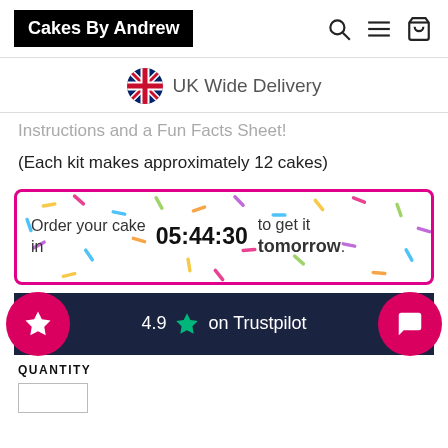Cakes By Andrew
UK Wide Delivery
Instructions and a Fun Facts Sheet!
(Each kit makes approximately 12 cakes)
Order your cake in 05:44:30 to get it tomorrow.
4.9 on Trustpilot
QUANTITY